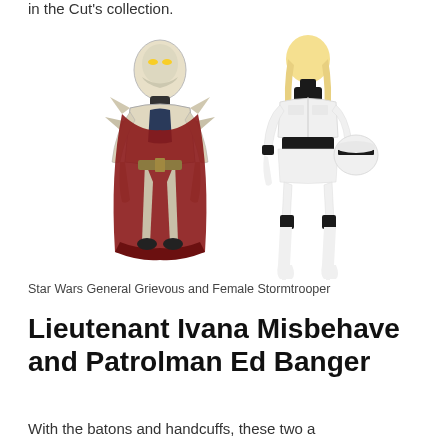in the Cut's collection.
[Figure (photo): Two Star Wars costumes side by side: on the left, a General Grievous costume (skeletal robot alien with red cape and mask), on the right, a Female Stormtrooper costume (white and black armor with high heels, holding helmet)]
Star Wars General Grievous and Female Stormtrooper
Lieutenant Ivana Misbehave and Patrolman Ed Banger
With the batons and handcuffs, these two a